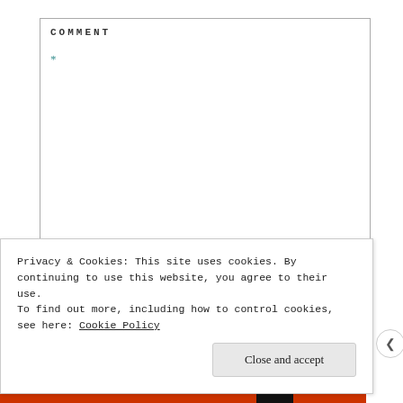COMMENT
*
NAME *
Privacy & Cookies: This site uses cookies. By continuing to use this website, you agree to their use.
To find out more, including how to control cookies, see here: Cookie Policy
Close and accept